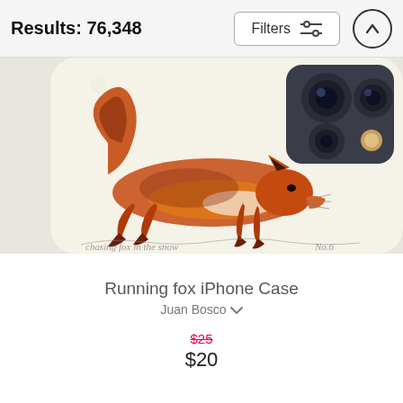Results: 76,348
[Figure (screenshot): Filters button with sliders icon in a rounded rectangle border]
[Figure (screenshot): Up arrow button in a circle]
[Figure (photo): iPhone case product photo showing a watercolor painting of a running fox on a cream/white background. The phone is shown from the back, revealing camera lenses in top right corner. The fox is depicted mid-stride in orange/rust and brown watercolor tones.]
Running fox iPhone Case
Juan Bosco
$25
$20